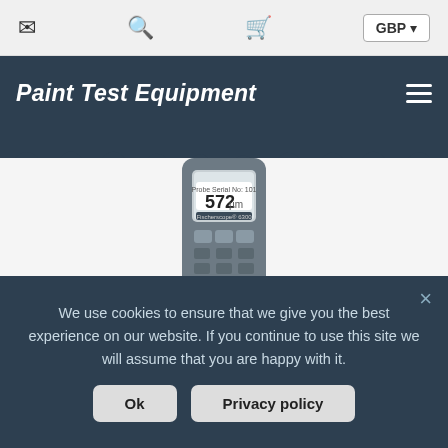GBP
Paint Test Equipment
[Figure (photo): A handheld paint thickness gauge device (Fischerscope or similar) displaying '572μm' on its LCD screen, with keypad buttons visible, held in a hand against a white/grey background.]
We use cookies to ensure that we give you the best experience on our website. If you continue to use this site we will assume that you are happy with it.